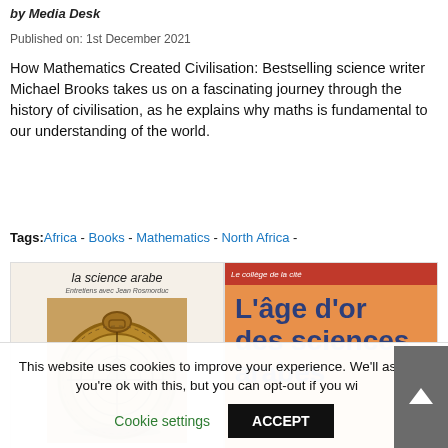by Media Desk
Published on: 1st December 2021
How Mathematics Created Civilisation: Bestselling science writer Michael Brooks takes us on a fascinating journey through the history of civilisation, as he explains why maths is fundamental to our understanding of the world.
Tags: Africa - Books - Mathematics - North Africa -
[Figure (photo): Two book covers side by side: left shows 'la science arabe' with an astrolabe image; right shows 'L'âge d'or des sciences arabes' with orange background and dark blue text.]
This website uses cookies to improve your experience. We'll assume you're ok with this, but you can opt-out if you wish.
Cookie settings  ACCEPT